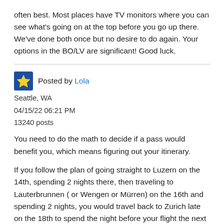often best. Most places have TV monitors where you can see what's going on at the top before you go up there. We've done both once but no desire to do again. Your options in the BO/LV are significant! Good luck.
Posted by Lola
Seattle, WA
04/15/22 06:21 PM
13240 posts
You need to do the math to decide if a pass would benefit you, which means figuring out your itinerary.
If you follow the plan of going straight to Luzern on the 14th, spending 2 nights there, then traveling to Lauterbrunnen ( or Wengen or Mürren) on the 16th and spending 2 nights, you would travel back to Zurich late on the 18th to spend the night before your flight the next day, the 19th.
In that scenario, the 4-day Swiss Pass for 281 CHF might work: